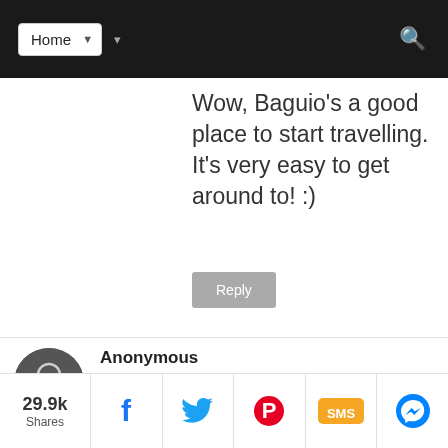Home
Wow, Baguio's a good place to start travelling. It's very easy to get around to! :)
Reply
Anonymous
January 3, 2017 at 8:45 PM
Hi Christian, were going to visit baguio. Tatlo sasakyan kami from Nueva ecija. Pare pareho kami Walang alam s baguio
29.9k Shares